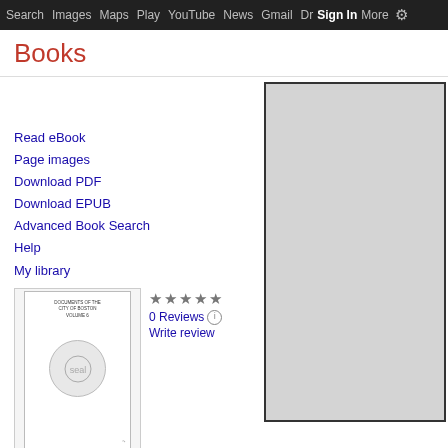Search  Images  Maps  Play  YouTube  News  Gmail  Drive  More  Sign in  Settings
Books
291 - 291
Page images   PDF   EPUB
Read eBook
Page images
Download PDF
Download EPUB
Advanced Book Search
Help
My library
[Figure (other): Thumbnail of book cover for Documents of the City of Boston, Volume 6]
0 Reviews
Write review
Documents of the City of Boston, Volume 6
[Figure (other): Gray page image viewer area for book page 291]